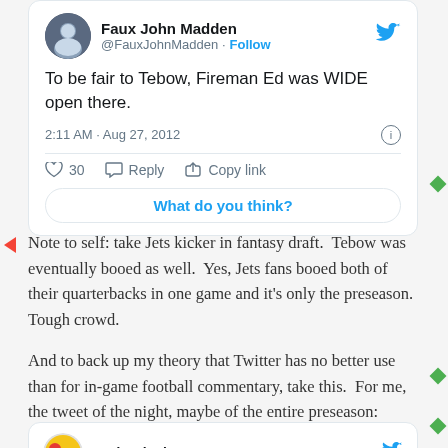[Figure (screenshot): Embedded tweet from @FauxJohnMadden: 'To be fair to Tebow, Fireman Ed was WIDE open there.' posted at 2:11 AM Aug 27, 2012, with 30 likes, Reply, Copy link buttons and a 'What do you think?' prompt]
Note to self: take Jets kicker in fantasy draft.  Tebow was eventually booed as well.  Yes, Jets fans booed both of their quarterbacks in one game and it's only the preseason.  Tough crowd.
And to back up my theory that Twitter has no better use than for in-game football commentary, take this.  For me, the tweet of the night, maybe of the entire preseason:
[Figure (screenshot): Partial tweet card from Andy Glockner (partially cut off at bottom of page)]